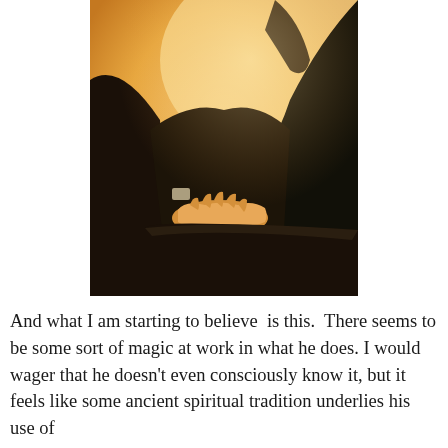[Figure (photo): A person in dark clothing placing one hand on a black book (Bible) while raising the other hand, suggesting taking an oath. The image has a warm amber/golden tone.]
And what I am starting to believe  is this.  There seems to be some sort of magic at work in what he does. I would wager that he doesn't even consciously know it, but it feels like some ancient spiritual tradition underlies his use of